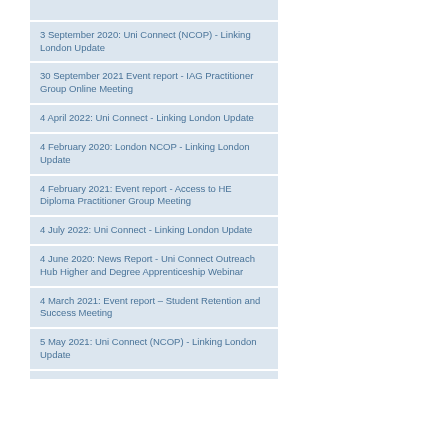3 September 2020: Uni Connect (NCOP) - Linking London Update
30 September 2021 Event report - IAG Practitioner Group Online Meeting
4 April 2022: Uni Connect - Linking London Update
4 February 2020: London NCOP - Linking London Update
4 February 2021: Event report - Access to HE Diploma Practitioner Group Meeting
4 July 2022: Uni Connect - Linking London Update
4 June 2020: News Report - Uni Connect Outreach Hub Higher and Degree Apprenticeship Webinar
4 March 2021: Event report – Student Retention and Success Meeting
5 May 2021: Uni Connect (NCOP) - Linking London Update